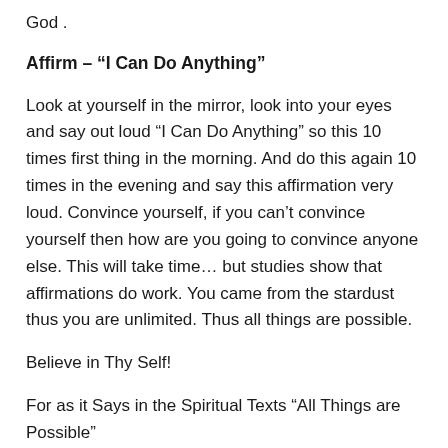God .
Affirm – “I Can Do Anything”
Look at yourself in the mirror, look into your eyes and say out loud “I Can Do Anything” so this 10 times first thing in the morning. And do this again 10 times in the evening and say this affirmation very loud. Convince yourself, if you can’t convince yourself then how are you going to convince anyone else. This will take time… but studies show that affirmations do work. You came from the stardust thus you are unlimited. Thus all things are possible.
Believe in Thy Self!
For as it Says in the Spiritual Texts “All Things are Possible”